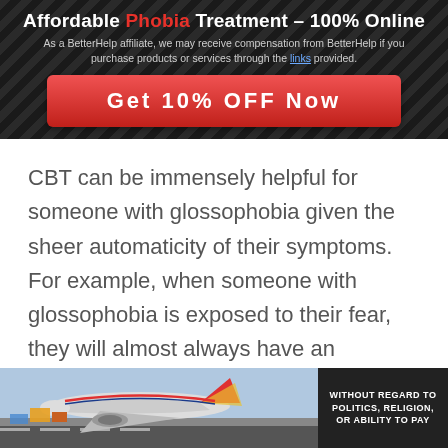Affordable Phobia Treatment – 100% Online
As a BetterHelp affiliate, we may receive compensation from BetterHelp if you purchase products or services through the links provided.
Get 10% OFF Now
CBT can be immensely helpful for someone with glossophobia given the sheer automaticity of their symptoms. For example, when someone with glossophobia is exposed to their fear, they will almost always have an instantaneous subconscious reaction to their fear. Such a lack of introspection is likely a large part of why someone with this condition will suffer to the extent that they will. CBT can help you to take a
[Figure (photo): Advertisement showing cargo airplane being loaded, with overlay text 'WITHOUT REGARD TO POLITICS, RELIGION, OR ABILITY TO PAY']